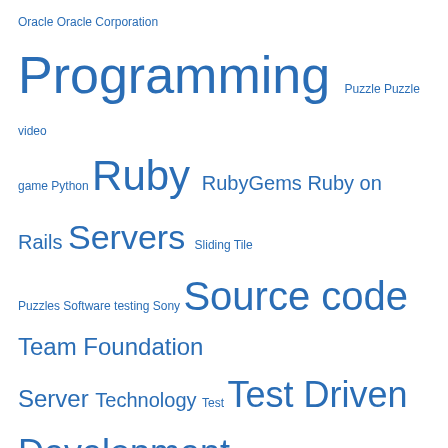[Figure (infographic): Tag cloud with blue text of varying sizes: Oracle, Oracle Corporation, Programming, Puzzle, Puzzle video game, Python, Ruby, RubyGems, Ruby on Rails, Servers, Sliding Tile Puzzles, Software testing, Sony, Source code, Team Foundation Server, Technology, Test, Test Driven Development, Test method, Time management, Tools, Troux Technologies, United States, United States Department of Labor, Video game, WWW]
Meta
Privacy & Cookies: This site uses cookies. By continuing to use this website, you agree to their use. To find out more, including how to control cookies, see here: Cookie Policy